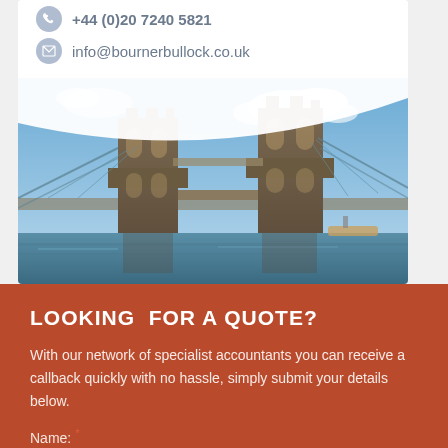+44 (0)20 7240 5821
info@bournerbullock.co.uk
[Figure (photo): Photo of Tower Bridge in London with blue sky and river Thames in the foreground]
LOOKING  FOR A QUOTE?
With our network of specialist accountants you can receive a callback quickly with no hassle, simply submit your details below.
Name: *